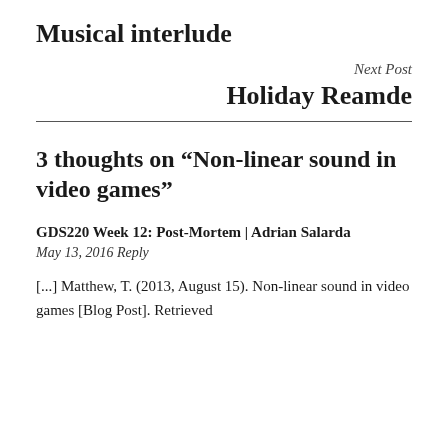Musical interlude
Next Post
Holiday Reamde
3 thoughts on “Non-linear sound in video games”
GDS220 Week 12: Post-Mortem | Adrian Salarda
May 13, 2016 Reply
[...] Matthew, T. (2013, August 15). Non-linear sound in video games [Blog Post]. Retrieved